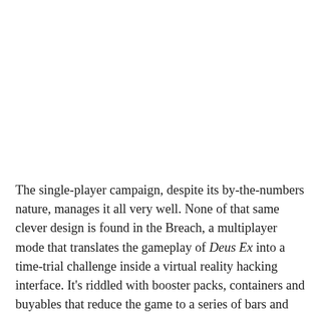The single-player campaign, despite its by-the-numbers nature, manages it all very well. None of that same clever design is found in the Breach, a multiplayer mode that translates the gameplay of Deus Ex into a time-trial challenge inside a virtual reality hacking interface. It's riddled with booster packs, containers and buyables that reduce the game to a series of bars and progression meters, while competing with your friends for the fastest times. It's messy and unwieldy compared to the main game, a sloppy dissection of